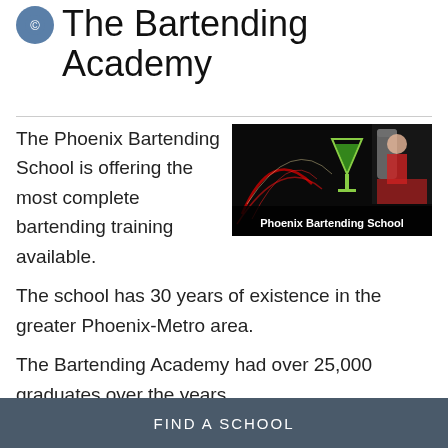The Bartending Academy
[Figure (photo): Phoenix Bartending School promotional image showing cocktail shaker, green martini, and a smiling woman in red, with text overlay 'Phoenix Bartending School']
The Phoenix Bartending School is offering the most complete bartending training available.
The school has 30 years of existence in the greater Phoenix-Metro area.
The Bartending Academy had over 25,000 graduates over the years.
FIND A SCHOOL